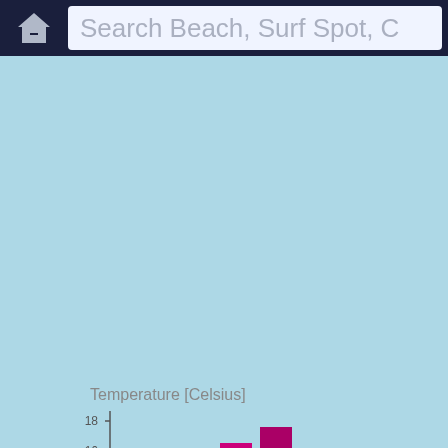Search Beach, Surf Spot,
[Figure (bar-chart): Temperature [Celsius]]